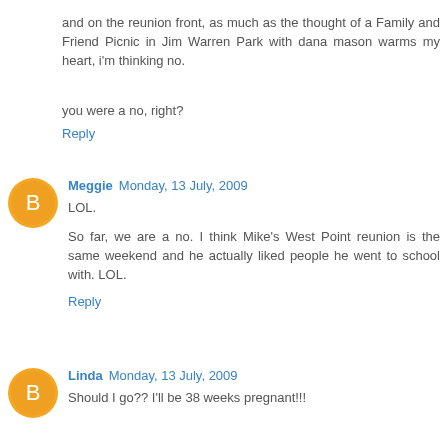and on the reunion front, as much as the thought of a Family and Friend Picnic in Jim Warren Park with dana mason warms my heart, i'm thinking no.
you were a no, right?
Reply
Meggie  Monday, 13 July, 2009
LOL.
So far, we are a no. I think Mike's West Point reunion is the same weekend and he actually liked people he went to school with. LOL.
Reply
Linda  Monday, 13 July, 2009
Should I go?? I'll be 38 weeks pregnant!!!